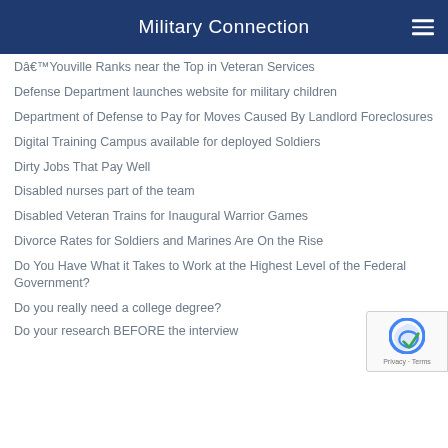Military Connection
D'Youville Ranks near the Top in Veteran Services
Defense Department launches website for military children
Department of Defense to Pay for Moves Caused By Landlord Foreclosures
Digital Training Campus available for deployed Soldiers
Dirty Jobs That Pay Well
Disabled nurses part of the team
Disabled Veteran Trains for Inaugural Warrior Games
Divorce Rates for Soldiers and Marines Are On the Rise
Do You Have What it Takes to Work at the Highest Level of the Federal Government?
Do you really need a college degree?
Do your research BEFORE the interview